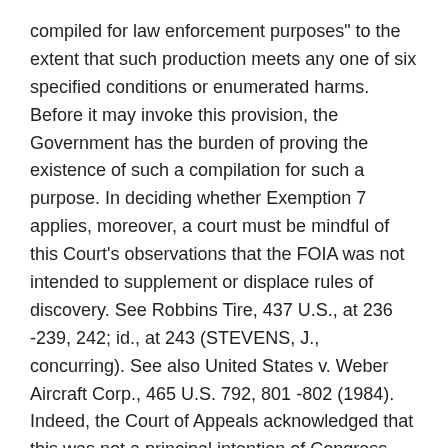compiled for law enforcement purposes" to the extent that such production meets any one of six specified conditions or enumerated harms. Before it may invoke this provision, the Government has the burden of proving the existence of such a compilation for such a purpose. In deciding whether Exemption 7 applies, moreover, a court must be mindful of this Court's observations that the FOIA was not intended to supplement or displace rules of discovery. See Robbins Tire, 437 U.S., at 236 -239, 242; id., at 243 (STEVENS, J., concurring). See also United States v. Weber Aircraft Corp., 465 U.S. 792, 801 -802 (1984). Indeed, the Court of Appeals acknowledged that this was not a principal intention of Congress. 850 F.2d, at 108.
As is customary, we look initially at the language of the statute itself. The wording of the phrase under scrutiny is simple and direct: "compiled for law enforcement purposes." The plain words contain no requirement that compilation be